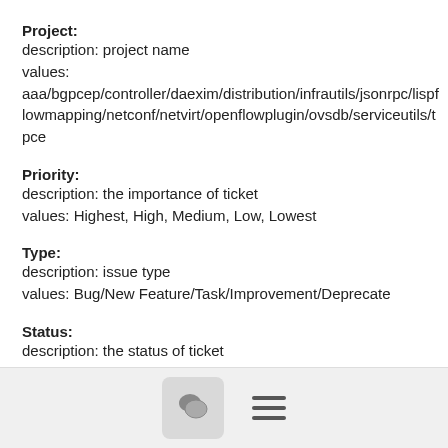Project:
description: project name
values:
aaa/bgpcep/controller/daexim/distribution/infrautils/jsonrpc/lispf lowmapping/netconf/netvirt/openflowplugin/ovsdb/serviceutils/t pce
Priority:
description: the importance of ticket
values: Highest, High, Medium, Low, Lowest
Type:
description: issue type
values: Bug/New Feature/Task/Improvement/Deprecate
Status:
description: the status of ticket